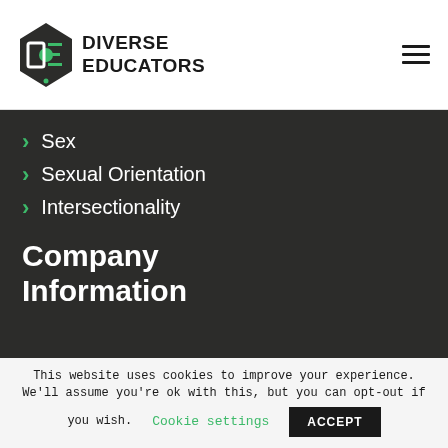[Figure (logo): Diverse Educators logo with stylized DE icon in black and green]
Sex
Sexual Orientation
Intersectionality
Company Information
This website uses cookies to improve your experience. We'll assume you're ok with this, but you can opt-out if you wish. Cookie settings ACCEPT